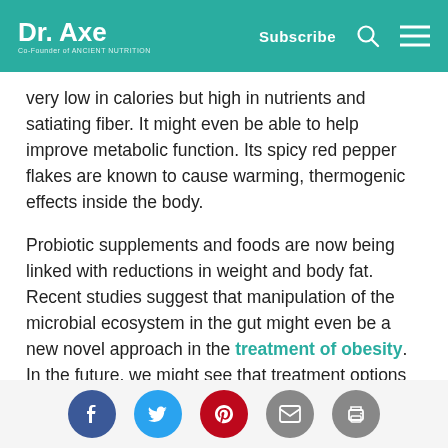Dr. Axe — Co-Founder of Ancient Nutrition | Subscribe
very low in calories but high in nutrients and satiating fiber. It might even be able to help improve metabolic function. Its spicy red pepper flakes are known to cause warming, thermogenic effects inside the body.
Probiotic supplements and foods are now being linked with reductions in weight and body fat. Recent studies suggest that manipulation of the microbial ecosystem in the gut might even be a new novel approach in the treatment of obesity. In the future, we might see that treatment options for helping reduce overeating and obesity